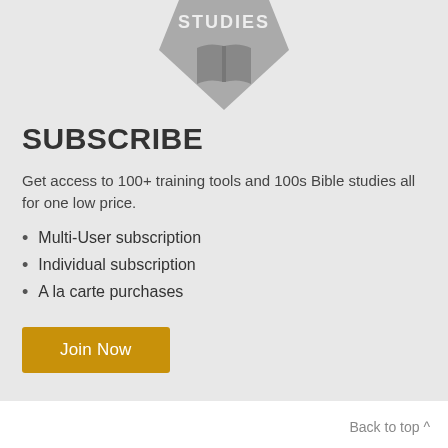[Figure (logo): Hexagonal badge/shield shape in gray with 'STUDIES' text and an open book icon]
SUBSCRIBE
Get access to 100+ training tools and 100s Bible studies all for one low price.
Multi-User subscription
Individual subscription
A la carte purchases
[Figure (other): Join Now button in gold/amber color]
Back to top ^
[Figure (logo): SmallGroups.com logo with horizontal lines on each side]
SmallGroups.com: Home | About Us | Privacy Policy | Terms of Use |